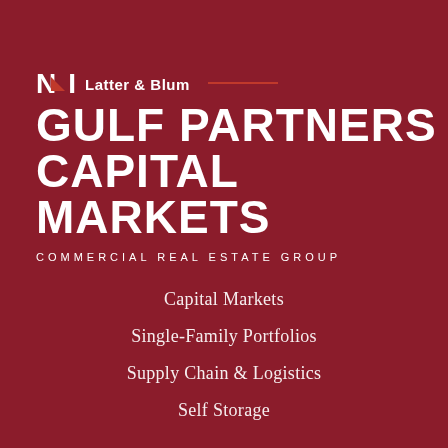[Figure (logo): NAI Latter & Blum Gulf Partners Capital Markets logo with red arrow accent and horizontal red line]
GULF PARTNERS CAPITAL MARKETS
COMMERCIAL REAL ESTATE GROUP
Capital Markets
Single-Family Portfolios
Supply Chain & Logistics
Self Storage
Our Story
Current Listings
Contact